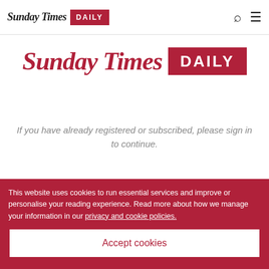Sunday Times DAILY
[Figure (logo): Sunday Times DAILY logo — large serif Sunday Times text in dark red with DAILY in white on red box]
If you have already registered or subscribed, please sign in to continue.
SIGN IN
REGISTER
This website uses cookies to run essential services and improve or personalise your reading experience. Read more about how we manage your information in our privacy and cookie policies.
Accept cookies